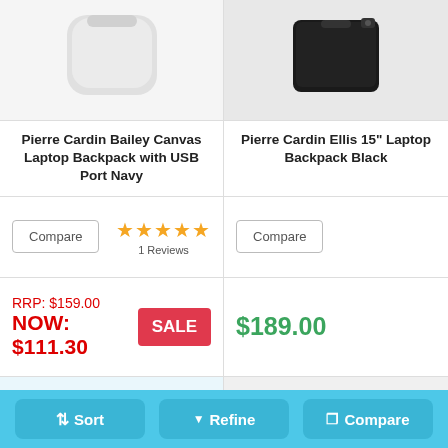[Figure (photo): White/light gray laptop backpack product image (top portion visible)]
[Figure (photo): Black laptop backpack product image (top portion visible)]
Pierre Cardin Bailey Canvas Laptop Backpack with USB Port Navy
Pierre Cardin Ellis 15" Laptop Backpack Black
Compare
★★★★★ 1 Reviews
Compare
RRP: $159.00
NOW: $111.30
SALE
$189.00
[Figure (photo): Navy backpack with silver/black handles visible from top]
[Figure (photo): Dark backpack partially visible]
⇅ Sort
▼ Refine
❐ Compare